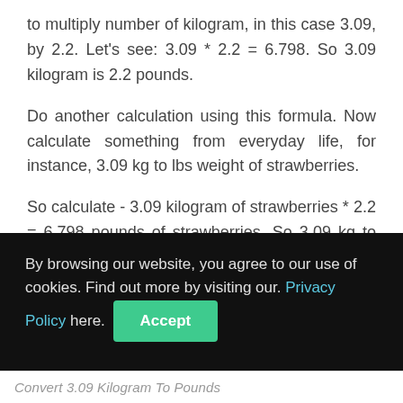to multiply number of kilogram, in this case 3.09, by 2.2. Let's see: 3.09 * 2.2 = 6.798. So 3.09 kilogram is 2.2 pounds.
Do another calculation using this formula. Now calculate something from everyday life, for instance, 3.09 kg to lbs weight of strawberries.
So calculate - 3.09 kilogram of strawberries * 2.2 = 6.798 pounds of strawberries. So 3.09 kg to pound mass is 6.798.
By browsing our website, you agree to our use of cookies. Find out more by visiting our. Privacy Policy here. Accept
Convert 3.09 kilogram to pounds